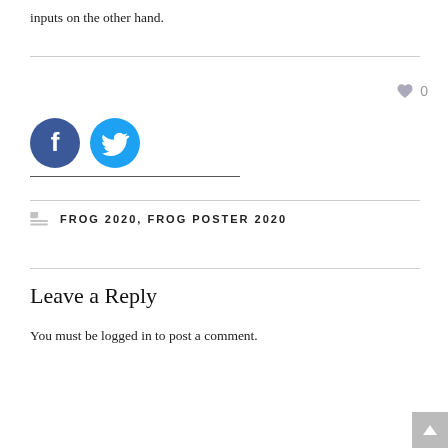inputs on the other hand.
[Figure (illustration): Heart icon with like count 0]
[Figure (illustration): Social sharing icons: Facebook (dark blue circle) and Twitter (cyan circle)]
FROG 2020, FROG POSTER 2020
Leave a Reply
You must be logged in to post a comment.